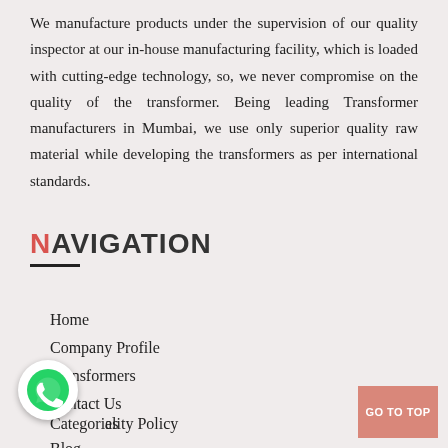We manufacture products under the supervision of our quality inspector at our in-house manufacturing facility, which is loaded with cutting-edge technology, so, we never compromise on the quality of the transformer. Being leading Transformer manufacturers in Mumbai, we use only superior quality raw material while developing the transformers as per international standards.
NAVIGATION
Home
Company Profile
Transformers
Contact Us
Categories
Quality Policy
Blog
[Figure (illustration): WhatsApp contact button icon (green circle with phone/chat icon)]
GO TO TOP